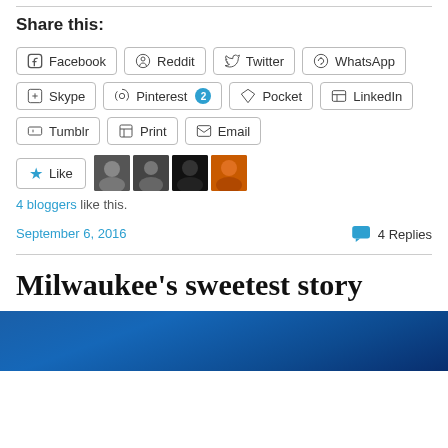Share this:
Facebook
Reddit
Twitter
WhatsApp
Skype
Pinterest 2
Pocket
LinkedIn
Tumblr
Print
Email
4 bloggers like this.
September 6, 2016
4 Replies
Milwaukee's sweetest story
[Figure (photo): Article image at bottom, blue background photo]